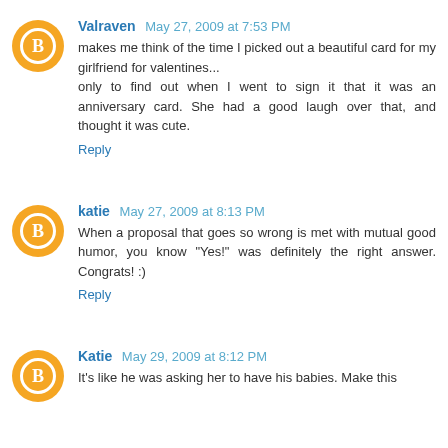Valraven May 27, 2009 at 7:53 PM
makes me think of the time I picked out a beautiful card for my girlfriend for valentines...
only to find out when I went to sign it that it was an anniversary card. She had a good laugh over that, and thought it was cute.
Reply
katie May 27, 2009 at 8:13 PM
When a proposal that goes so wrong is met with mutual good humor, you know "Yes!" was definitely the right answer. Congrats! :)
Reply
Katie May 29, 2009 at 8:12 PM
It's like he was asking her to have his babies. Make this